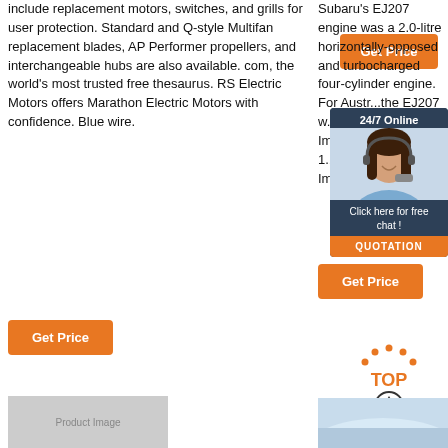include replacement motors, switches, and grills for user protection. Standard and Q-style Multifan replacement blades, AP Performer propellers, and interchangeable hubs are also available. com, the world's most trusted free thesaurus. RS Electric Motors offers Marathon Electric Motors with confidence. Blue wire.
[Figure (other): Orange 'Get Price' button (top right of left column)]
Subaru's EJ207 engine was a 2.0-litre horizontally-opposed and turbocharged four-cylinder engine. For Austr... the EJ207 w... offered GC Imp... STi in 1... subseq... powered... GD Imp... STi.
[Figure (other): 24/7 Online chat popup with avatar, 'Click here for free chat!' and QUOTATION button]
[Figure (other): Orange 'Get Price' button (right column, mid)]
[Figure (other): Orange 'Get Price' button (bottom left)]
[Figure (other): TOP button with upward arrow icon]
[Figure (photo): Bottom left product image (partial)]
[Figure (photo): Bottom right image with sky/clouds (partial)]